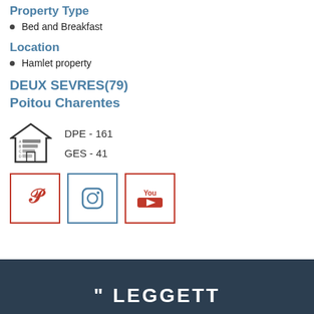Property Type
Bed and Breakfast
Location
Hamlet property
DEUX SEVRES(79) Poitou Charentes
[Figure (infographic): Energy performance icon (house with rating bars) with DPE - 161 and GES - 41 labels]
[Figure (logo): Social media icons: Pinterest (red border), Instagram (blue border), YouTube (red border)]
LEGGETT